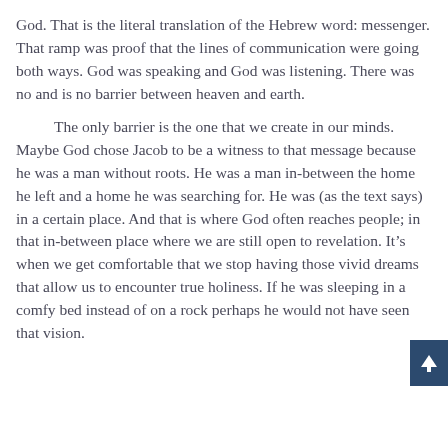God.  That is the literal translation of the Hebrew word: messenger.  That ramp was proof that the lines of communication were going both ways.  God was speaking and God was listening.  There was no and is no barrier between heaven and earth.

The only barrier is the one that we create in our minds.  Maybe God chose Jacob to be a witness to that message because he was a man without roots.  He was a man in-between the home he left and a home he was searching for.  He was (as the text says) in a certain place.  And that is where God often reaches people; in that in-between place where we are still open to revelation.  It's when we get comfortable that we stop having those vivid dreams that allow us to encounter true holiness.  If he was sleeping in a comfy bed instead of on a rock perhaps he would not have seen that vision.